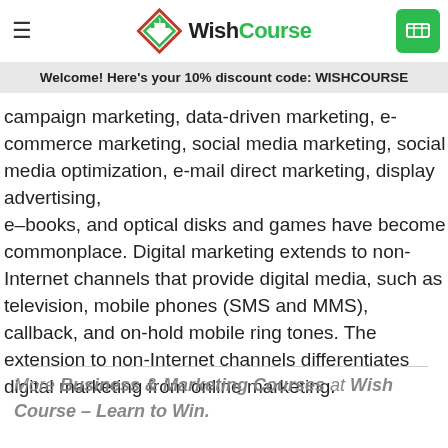WishCourse
employing combinations of search engine optimization (SEO), search engine marketing, influencer marketing, content automation, campaign marketing, data-driven marketing, e-commerce marketing, social media marketing, social media optimization, e-mail direct marketing, display advertising, e-books, and optical disks and games have become commonplace. Digital marketing extends to non-Internet channels that provide digital media, such as television, mobile phones (SMS and MMS), callback, and on-hold mobile ring tones. The extension to non-Internet channels differentiates digital marketing from online marketing.
Welcome! Here's your 10% discount code: WISHCOURSE
More Business & Marketing Courses at Wish Course – Learn to Win.